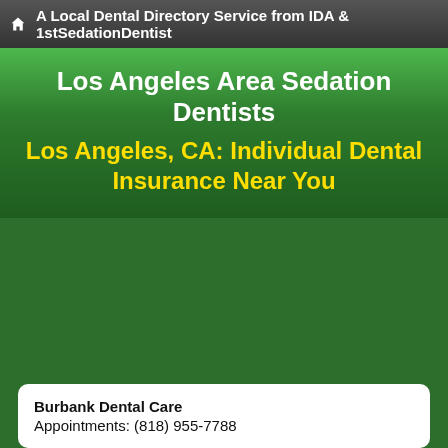A Local Dental Directory Service from IDA & 1stSedationDentist
Los Angeles Area Sedation Dentists
Los Angeles, CA: Individual Dental Insurance Near You
Burbank Dental Care
Appointments: (818) 955-7788